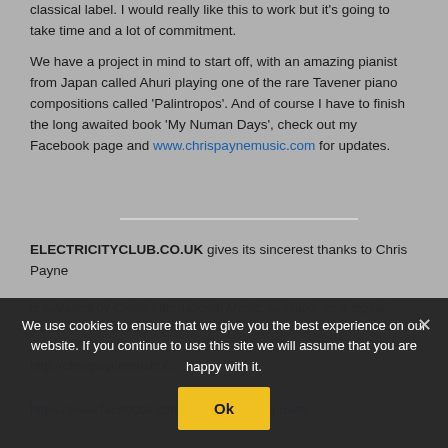classical label. I would really like this to work but it's going to take time and a lot of commitment.
We have a project in mind to start off, with an amazing pianist from Japan called Ahuri playing one of the rare Tavener piano compositions called 'Palintropos'. And of course I have to finish the long awaited book 'My Numan Days', check out my Facebook page and www.chrispaynemusic.com for updates.
ELECTRICITYCLUB.CO.UK gives its sincerest thanks to Chris Payne
We use cookies to ensure that we give you the best experience on our website. If you continue to use this site we will assume that you are happy with it.
http://chrispaynemusic.c...
https://www.facebook.com/chrispaynecomposer/